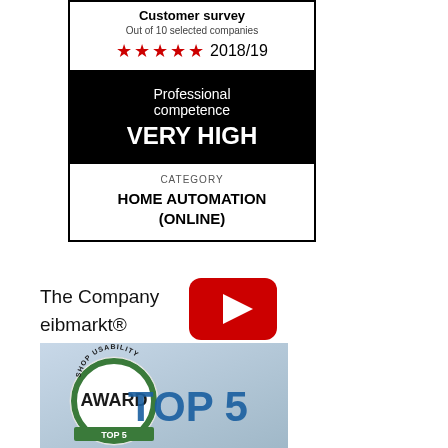[Figure (infographic): Customer survey award badge showing 5 red stars, year 2018/19, Professional competence VERY HIGH, Category: HOME AUTOMATION (ONLINE)]
The Company eibmarkt®
[Figure (other): YouTube play button icon (red rounded rectangle with white triangle)]
[Figure (infographic): Shop Usability Award badge showing TOP 5, with circular badge reading SHOP USABILITY AWARD TOP 5]